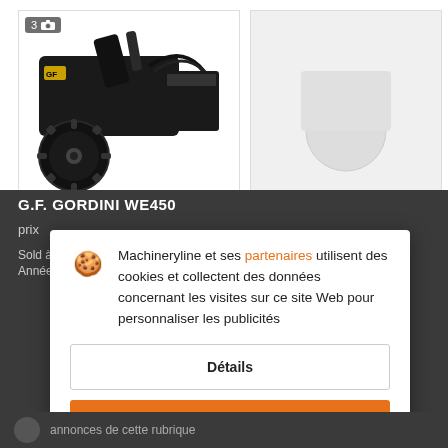[Figure (photo): Black heavy machinery / stump grinder equipment (G.F. Gordini WE450) with rotary cutting head and hydraulic hoses, shown against white background. Badge showing '3' and camera icon in top-left corner.]
G.F. GORDINI WE450
prix
Sold à so...
Année: 2...
Machineryline et ses partenaires utilisent des cookies et collectent des données concernant les visites sur ce site Web pour personnaliser les publicités
Détails
Accepter et fermer
annonces de cette rubrique